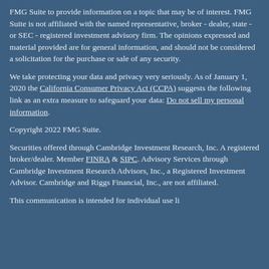FMG Suite to provide information on a topic that may be of interest. FMG Suite is not affiliated with the named representative, broker - dealer, state - or SEC - registered investment advisory firm. The opinions expressed and material provided are for general information, and should not be considered a solicitation for the purchase or sale of any security.
We take protecting your data and privacy very seriously. As of January 1, 2020 the California Consumer Privacy Act (CCPA) suggests the following link as an extra measure to safeguard your data: Do not sell my personal information.
Copyright 2022 FMG Suite.
Securities offered through Cambridge Investment Research, Inc. A registered broker/dealer. Member FINRA & SIPC. Advisory Services through Cambridge Investment Research Advisors, Inc., a Registered Investment Advisor. Cambridge and Riggs Financial, Inc., are not affiliated.
This communication is intended for individual use li...